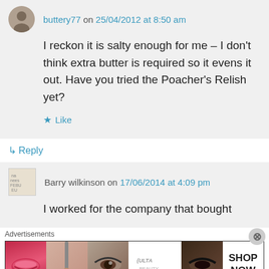buttery77 on 25/04/2012 at 8:50 am
I reckon it is salty enough for me – I don't think extra butter is required so it evens it out. Have you tried the Poacher's Relish yet?
Like
Reply
Barry wilkinson on 17/06/2014 at 4:09 pm
I worked for the company that bought
Advertisements
[Figure (other): ULTA beauty advertisement banner with makeup imagery including lips, brush, eyes, ULTA logo, and SHOP NOW text]